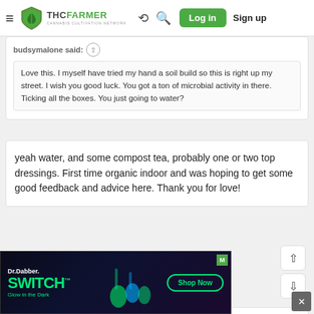THCFarmer - Cannabis Cultivation Network | Log in | Sign up
budsymalone said:
Love this. I myself have tried my hand a soil build so this is right up my street. I wish you good luck. You got a ton of microbial activity in there. Ticking all the boxes. You just going to water?
yeah water, and some compost tea, probably one or two top dressings. First time organic indoor and was hoping to get some good feedback and advice here. Thank you for love!
[Figure (screenshot): Ad banner for Dr.Dabber SWITCH - Glow in the Dark product with Shop Now button]